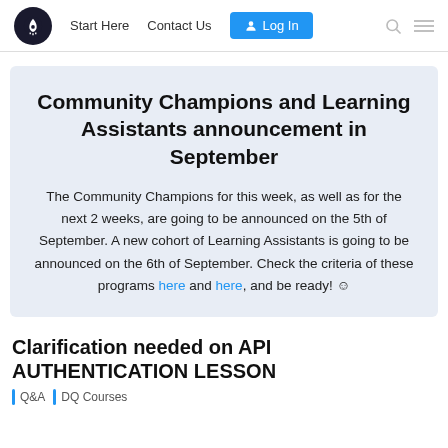Start Here  Contact Us  Log In
Community Champions and Learning Assistants announcement in September
The Community Champions for this week, as well as for the next 2 weeks, are going to be announced on the 5th of September. A new cohort of Learning Assistants is going to be announced on the 6th of September. Check the criteria of these programs here and here, and be ready! ☺
Clarification needed on API AUTHENTICATION LESSON
Q&A  DQ Courses